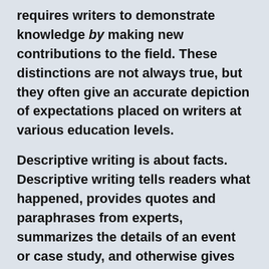requires writers to demonstrate knowledge by making new contributions to the field. These distinctions are not always true, but they often give an accurate depiction of expectations placed on writers at various education levels.
Descriptive writing is about facts. Descriptive writing tells readers what happened, provides quotes and paraphrases from experts, summarizes the details of an event or case study, and otherwise gives information. Descriptive writing is exactly as the name implies: descriptive. It is what high school and undergraduate students are most often asked to do.
Analytical writing, on the other hand, takes those facts, quotes, paraphrases, details, etc., and then tells readers why any of that information matters. A descriptive writer answers the question, “What?” An analytical writer answers the question, “So what?” What does the